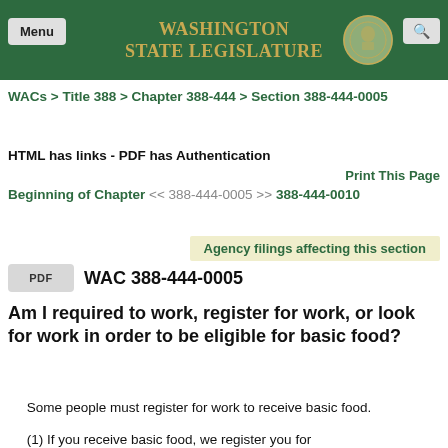[Figure (screenshot): Washington State Legislature header with green background, gold title text, Menu button on left, search icon on right, and state seal]
WACs > Title 388 > Chapter 388-444 > Section 388-444-0005
HTML has links - PDF has Authentication
Print This Page
Beginning of Chapter << 388-444-0005 >> 388-444-0010
Agency filings affecting this section
PDF WAC 388-444-0005
Am I required to work, register for work, or look for work in order to be eligible for basic food?
Some people must register for work to receive basic food.
(1) If you receive basic food, we register you for